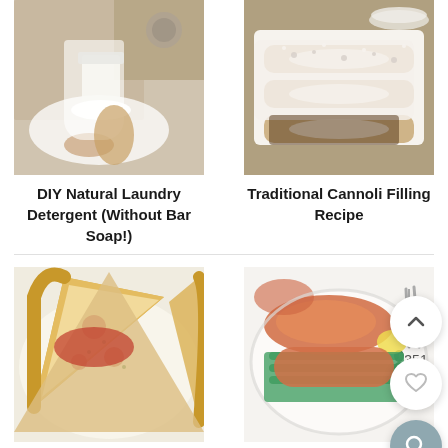[Figure (photo): Person scooping white powder (DIY laundry detergent) into a mason jar near a washing machine]
[Figure (photo): Traditional cannoli on a white rectangular plate with chocolate drizzle and powdered sugar]
DIY Natural Laundry Detergent (Without Bar Soap!)
Traditional Cannoli Filling Recipe
[Figure (photo): Slices of tomato basil pizza on a white plate]
[Figure (photo): Grilled Traeger salmon with asparagus on a white plate]
Tomato, Basil, And
Grilled Traeger